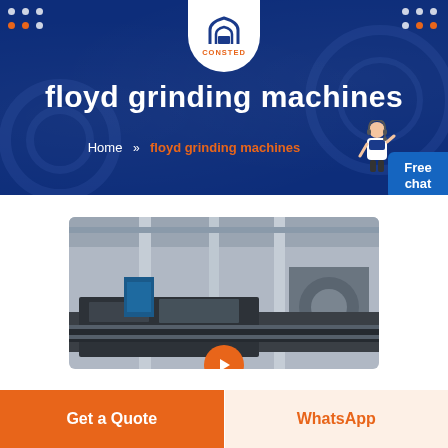[Figure (screenshot): Website header banner for CONSTED company showing 'floyd grinding machines' page with dark blue background, company logo, dot decorations, breadcrumb navigation, free chat button, and customer service representative figure]
floyd grinding machines
Home » floyd grinding machines
[Figure (photo): Industrial grinding machine in a factory/warehouse setting, showing large heavy machinery with metal components, columns visible in background of large industrial facility]
Get a Quote
WhatsApp